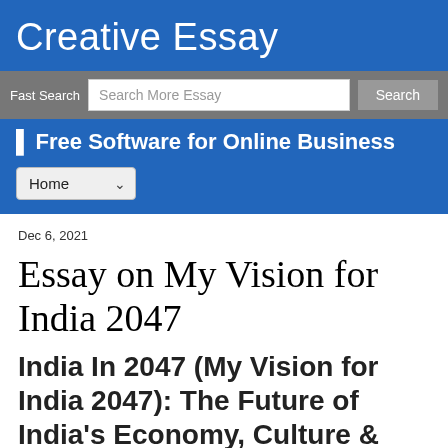Creative Essay
Fast Search  Search More Essay  Search
▌Free Software for Online Business
Home
Dec 6, 2021
Essay on My Vision for India 2047
India In 2047 (My Vision for India 2047): The Future of India's Economy, Culture &